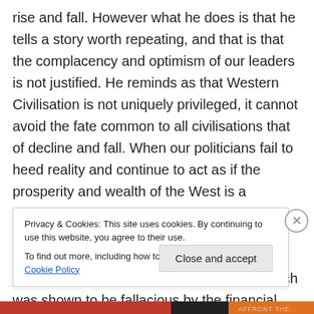rise and fall. However what he does is that he tells a story worth repeating, and that is that the complacency and optimism of our leaders is not justified. He reminds as that Western Civilisation is not uniquely privileged, it cannot avoid the fate common to all civilisations that of decline and fall. When our politicians fail to heed reality and continue to act as if the prosperity and wealth of the West is a historical given, and that the progress is inevitable they are ignoring the lessons of history. Gordon Brown's infamous statement that we have 'abolished boom and bust' which was shown to be fallacious by the financial
Privacy & Cookies: This site uses cookies. By continuing to use this website, you agree to their use.
To find out more, including how to control cookies, see here: Cookie Policy
Close and accept